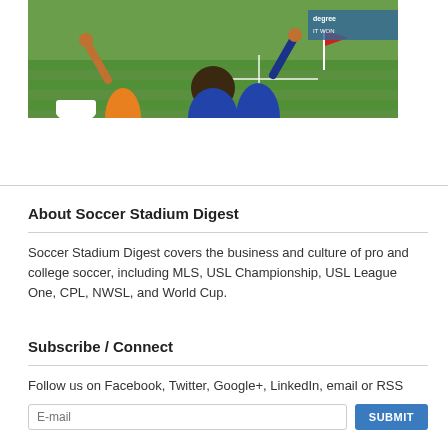[Figure (photo): Soccer stadium photo showing fans/players with arms raised celebrating near a corner flag on a green field, with advertising boards visible in the background]
About Soccer Stadium Digest
Soccer Stadium Digest covers the business and culture of pro and college soccer, including MLS, USL Championship, USL League One, CPL, NWSL, and World Cup.
Subscribe / Connect
Follow us on Facebook, Twitter, Google+, LinkedIn, email or RSS